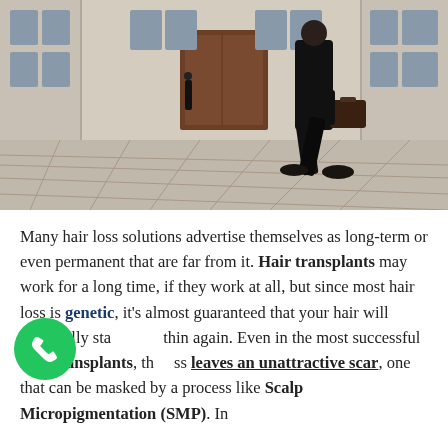[Figure (photo): A person in a dark suit carrying a briefcase walking across a large stone plaza in front of a classical building. Another figure stands in the background.]
Many hair loss solutions advertise themselves as long-term or even permanent that are far from it. Hair transplants may work for a long time, if they work at all, but since most hair loss is genetic, it's almost guaranteed that your hair will eventually start thin again. Even in the most successful hair transplants, the process leaves an unattractive scar, one that can be masked by a process like Scalp Micropigmentation (SMP). In